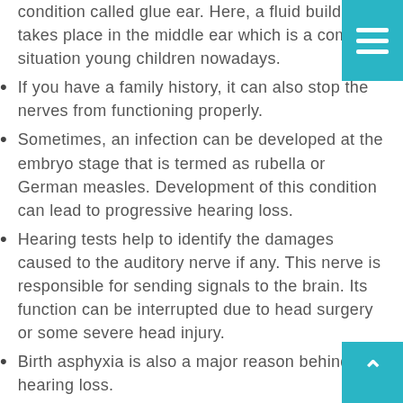condition called glue ear. Here, a fluid build-up takes place in the middle ear which is a common situation young children nowadays.
If you have a family history, it can also stop the nerves from functioning properly.
Sometimes, an infection can be developed at the embryo stage that is termed as rubella or German measles. Development of this condition can lead to progressive hearing loss.
Hearing tests help to identify the damages caused to the auditory nerve if any. This nerve is responsible for sending signals to the brain. Its function can be interrupted due to head surgery or some severe head injury.
Birth asphyxia is also a major reason behind hearing loss.
You must look for some of the best specialists in Dubbo that can help you in dealing with the problem and providing